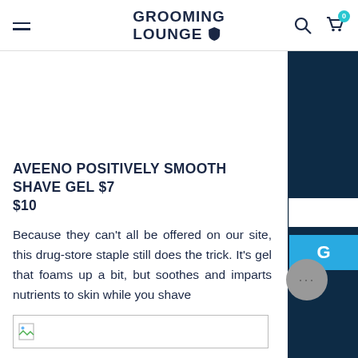GROOMING LOUNGE
AVEENO POSITIVELY SMOOTH SHAVE GEL $7 $10
Because they can't all be offered on our site, this drug-store staple still does the trick. It's gel that foams up a bit, but soothes and imparts nutrients to skin while you shave
[Figure (photo): Broken/loading image placeholder at the bottom of the page]